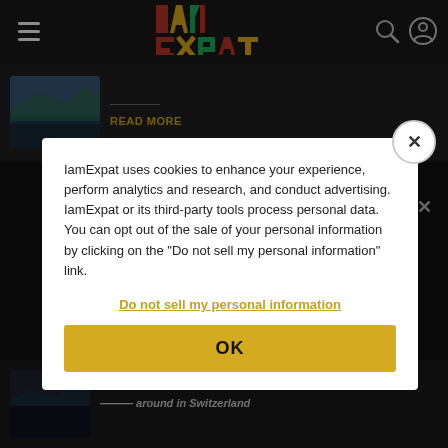[Figure (logo): IamExpat logo in colorful block letters]
[Figure (photo): Article thumbnail showing landscape/outdoor scene]
READ MORE
NEVER MISS A BEAT!
Like us on Facebook to stay updated
IamExpat uses cookies to enhance your experience, perform analytics and research, and conduct advertising. IamExpat or its third-party tools process personal data. You can opt out of the sale of your personal information by clicking on the "Do not sell my personal information" link.
Do not sell my personal information
OK
[Figure (photo): Article thumbnail showing dark outdoor scene]